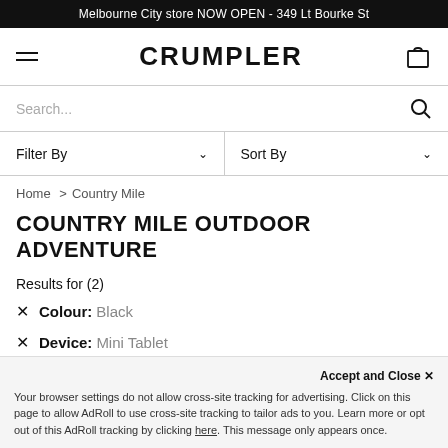Melbourne City store NOW OPEN - 349 Lt Bourke St
[Figure (screenshot): Crumpler brand navigation bar with hamburger menu, CRUMPLER logo, and shopping bag icon]
Search...
Filter By   Sort By
Home > Country Mile
COUNTRY MILE OUTDOOR ADVENTURE
Results for (2)
Colour: Black
Device: Mini Tablet
Accept and Close ×
Your browser settings do not allow cross-site tracking for advertising. Click on this page to allow AdRoll to use cross-site tracking to tailor ads to you. Learn more or opt out of this AdRoll tracking by clicking here. This message only appears once.